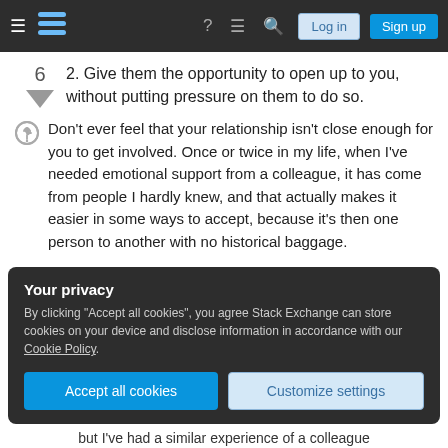Stack Exchange navigation bar with Log in and Sign up buttons
2. Give them the opportunity to open up to you, without putting pressure on them to do so.
Don't ever feel that your relationship isn't close enough for you to get involved. Once or twice in my life, when I've needed emotional support from a colleague, it has come from people I hardly knew, and that actually makes it easier in some ways to accept, because it's then one person to another with no historical baggage.
Your privacy
By clicking "Accept all cookies", you agree Stack Exchange can store cookies on your device and disclose information in accordance with our Cookie Policy.
but I've had a similar experience of a colleague